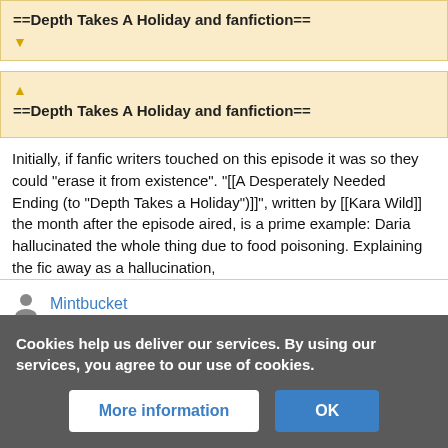==Depth Takes A Holiday and fanfiction==
==Depth Takes A Holiday and fanfiction==
Initially, if fanfic writers touched on this episode it was so they could "erase it from existence". "[[A Desperately Needed Ending (to "Depth Takes a Holiday")]]" , written by [[Kara Wild]] the month after the episode aired, is a prime example: Daria hallucinated the whole thing due to food poisoning. Explaining the fic away as a hallucination,
Mintbucket
Cookies help us deliver our services. By using our services, you agree to our use of cookies.